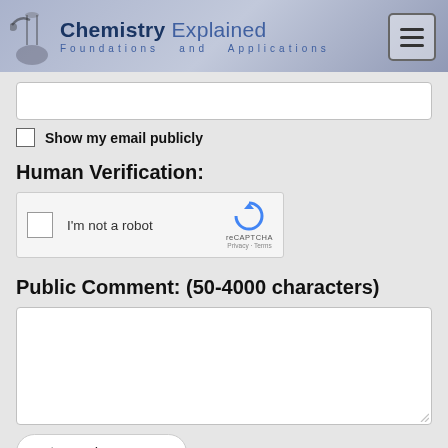Chemistry Explained Foundations and Applications
[Figure (screenshot): Input field (email), checkbox labeled Show my email publicly]
Show my email publicly
Human Verification:
[Figure (other): reCAPTCHA widget with checkbox labeled I'm not a robot]
Public Comment: (50-4000 characters)
[Figure (screenshot): Large textarea for public comment input]
Send comment